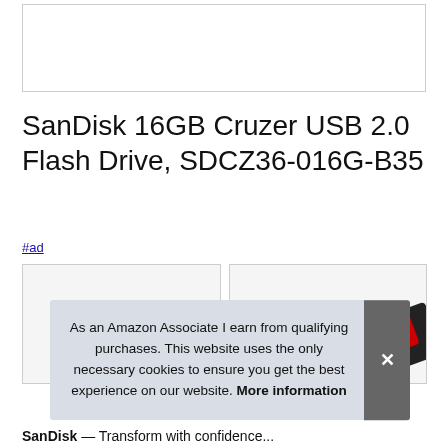[Figure (photo): Top white image placeholder box with border]
SanDisk 16GB Cruzer USB 2.0 Flash Drive, SDCZ36-016G-B35
#ad
[Figure (photo): Two product image boxes side by side showing USB flash drives]
As an Amazon Associate I earn from qualifying purchases. This website uses the only necessary cookies to ensure you get the best experience on our website. More information
SanDisk — Transform with confidence...